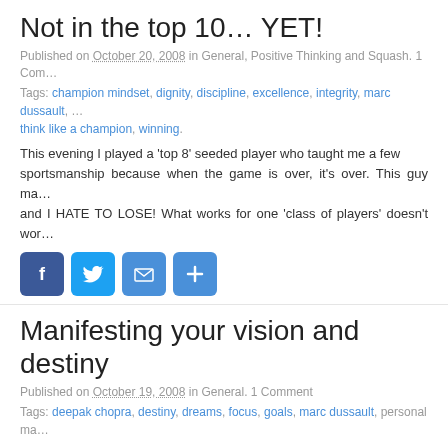Not in the top 10… YET!
Published on October 20, 2008 in General, Positive Thinking and Squash. 1 Com…
Tags: champion mindset, dignity, discipline, excellence, integrity, marc dussault, … think like a champion, winning.
This evening I played a 'top 8' seeded player who taught me a few… sportsmanship because when the game is over, it's over. This guy ma… and I HATE TO LOSE! What works for one 'class of players' doesn't wor…
[Figure (infographic): Social share buttons: Facebook, Twitter, Email, Share (plus icon)]
Manifesting your vision and destiny
Published on October 19, 2008 in General. 1 Comment
Tags: deepak chopra, destiny, dreams, focus, goals, marc dussault, personal ma…
Today's post is courtesy of Sandy Boldiston. It needs no introduction oth… How freaky is that?!?! Thanks Sandy! So get to it! Create your vision and… challenged, you can collect photos from magazines and create a 'drea… […]
[Figure (infographic): Social share buttons: Facebook, Twitter, Email (partial view)]